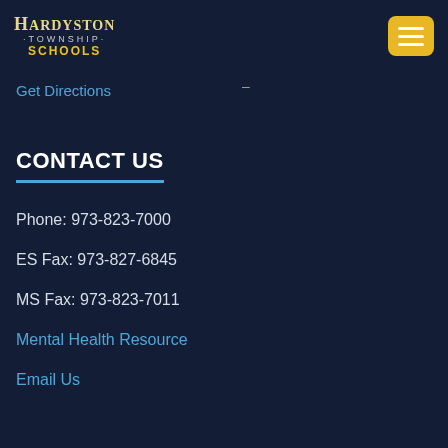Hardyston Township Schools
Get Directions
CONTACT US
Phone: 973-823-7000
ES Fax: 973-827-6845
MS Fax: 973-823-7011
Mental Health Resource
Email Us